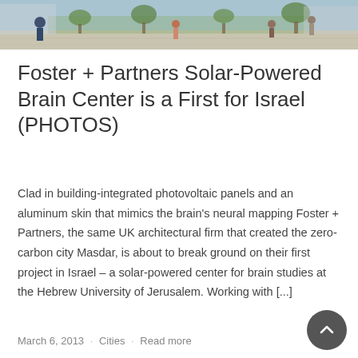[Figure (photo): Outdoor campus walkway scene with people walking, trees, and buildings in sunlight]
Foster + Partners Solar-Powered Brain Center is a First for Israel (PHOTOS)
Clad in building-integrated photovoltaic panels and an aluminum skin that mimics the brain's neural mapping Foster + Partners, the same UK architectural firm that created the zero-carbon city Masdar, is about to break ground on their first project in Israel – a solar-powered center for brain studies at the Hebrew University of Jerusalem. Working with [...]
March 6, 2013 · Cities · Read more